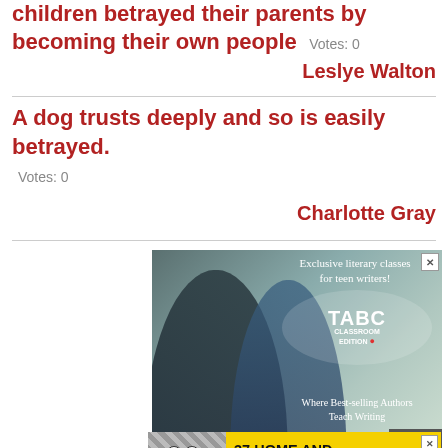children betrayed their parents by becoming their own people  Votes: 0
Leslye Walton
A dog trusts deeply and so is easily betrayed.  Votes: 0
Charlotte Gray
[Figure (screenshot): Advertisement for TABC Classroom Edition - Exclusive literary classes for teen writers. Where Best-selling Authors Teach Writing. Shows two young girls with backpacks.]
[Figure (screenshot): Banner advertisement: 37 Home and Kitchen Items Everyone Should Own, with yellow background and circular badge showing 22.]